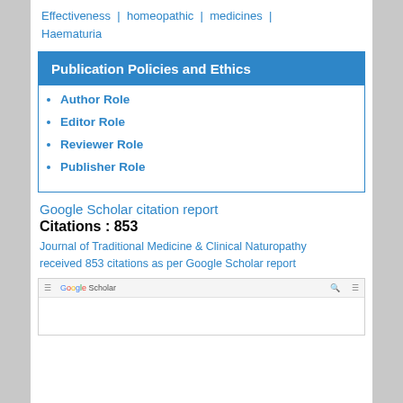Effectiveness | homeopathic | medicines | Haematuria
Publication Policies and Ethics
Author Role
Editor Role
Reviewer Role
Publisher Role
Google Scholar citation report
Citations : 853
Journal of Traditional Medicine & Clinical Naturopathy received 853 citations as per Google Scholar report
[Figure (screenshot): Google Scholar website screenshot showing search bar and navigation]